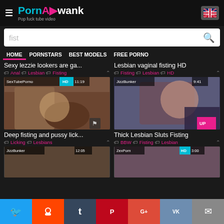PornAwank - Pop fuck tube video
fist
HOME
PORNSTARS
BEST MODELS
FREE PORNO
Sexy lezzie lookers are ga...
Anal  Lesbian  Fisting
[Figure (screenshot): SexTubePorno HD 11:19 video thumbnail]
Lesbian vaginal fisting HD
Fisting  Lesbian  HD
[Figure (screenshot): JizzBunker 9:41 video thumbnail]
Deep fisting and pussy lick...
Licking  Lesbians
Thick Lesbian Sluts Fisting
BBW  Fisting  Lesbian
[Figure (screenshot): JizzBunker 12:05 video thumbnail partial]
[Figure (screenshot): ZexPorn HD 3:00 video thumbnail partial]
Twitter Reddit Tumblr Pinterest G+ VK Mail